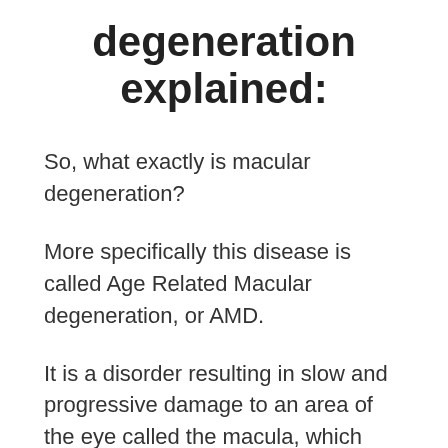degeneration explained:
So, what exactly is macular degeneration?
More specifically this disease is called Age Related Macular degeneration, or AMD.
It is a disorder resulting in slow and progressive damage to an area of the eye called the macula, which may lead to a